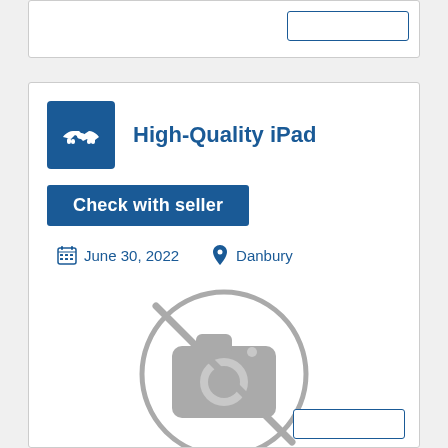[Figure (screenshot): Top card with a blue-bordered button in the top right corner]
High-Quality iPad
Check with seller
June 30, 2022   Danbury
[Figure (illustration): No photo placeholder: camera icon with a diagonal line through it inside a circle]
If your iPad has a...